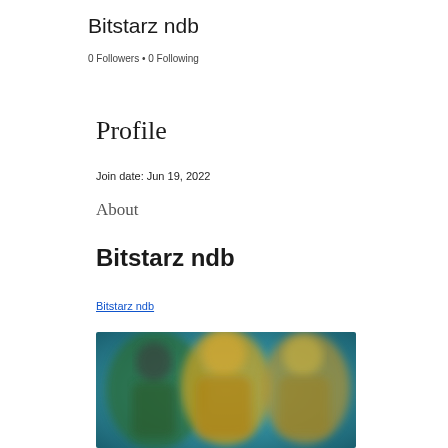Bitstarz ndb
0 Followers • 0 Following
Profile
Join date: Jun 19, 2022
About
Bitstarz ndb
Bitstarz ndb
[Figure (photo): Blurred image showing animated or illustrated characters against a teal/blue background]